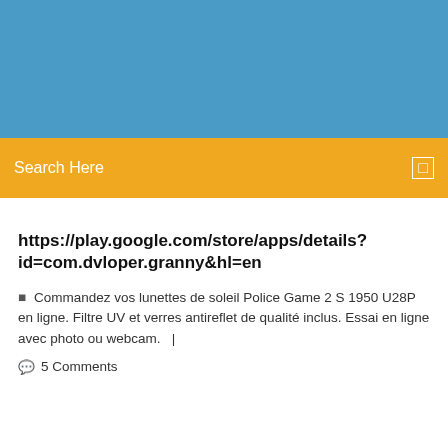[Figure (screenshot): Blue banner header area at top of webpage]
Search Here
https://play.google.com/store/apps/details?id=com.dvloper.granny&hl=en
Commandez vos lunettes de soleil Police Game 2 S 1950 U28P en ligne. Filtre UV et verres antireflet de qualité inclus. Essai en ligne avec photo ou webcam.  |
5 Comments